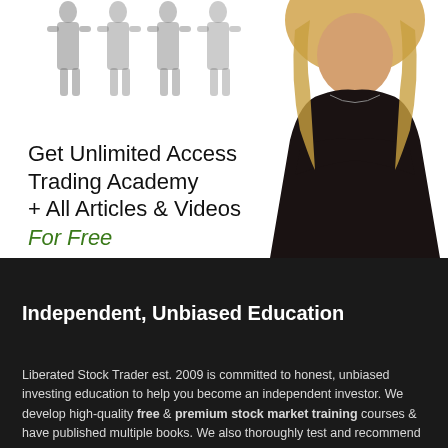[Figure (illustration): Advertisement banner showing silhouetted business figures in the background and a woman with arms crossed in the foreground, with text overlay promoting Trading Academy access]
Get Unlimited Access Trading Academy + All Articles & Videos For Free
Independent, Unbiased Education
Liberated Stock Trader est. 2009 is committed to honest, unbiased investing education to help you become an independent investor. We develop high-quality free & premium stock market training courses & have published multiple books. We also thoroughly test and recommend the best investment research software. We have partnerships with companies whose products we love. These partnerships help fund the business...